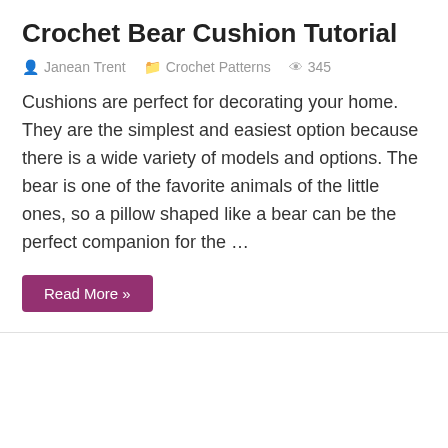Crochet Bear Cushion Tutorial
Janean Trent   Crochet Patterns   345
Cushions are perfect for decorating your home. They are the simplest and easiest option because there is a wide variety of models and options. The bear is one of the favorite animals of the little ones, so a pillow shaped like a bear can be the perfect companion for the …
Read More »